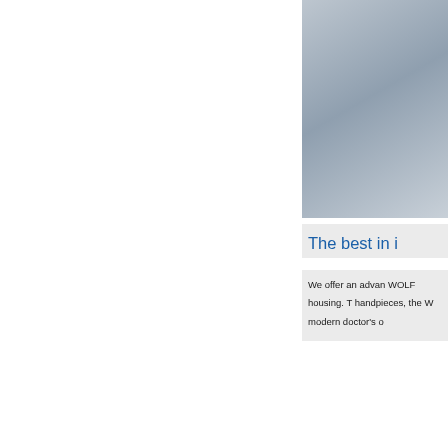[Figure (photo): Gray-blue gradient background photo area at top right, showing medical/dental equipment product imagery]
The best in i
We offer an advan WOLF housing. T handpieces, the W modern doctor's o
[Figure (photo): Gray-blue gradient background photo area at bottom right, showing a dark cylindrical dental handpiece device]